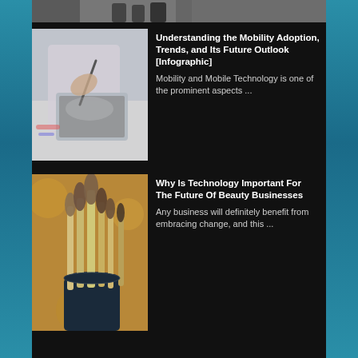[Figure (photo): Partial top strip of a photo, cropped — appears to show people in a crowd or event]
[Figure (photo): Person holding a smartphone/tablet with a stylus, blurred background — mobile technology context]
Understanding the Mobility Adoption, Trends, and Its Future Outlook [Infographic]
Mobility and Mobile Technology is one of the prominent aspects ...
[Figure (photo): Makeup brushes in a holder, warm golden-brown background — beauty business context]
Why Is Technology Important For The Future Of Beauty Businesses
Any business will definitely benefit from embracing change, and this ...